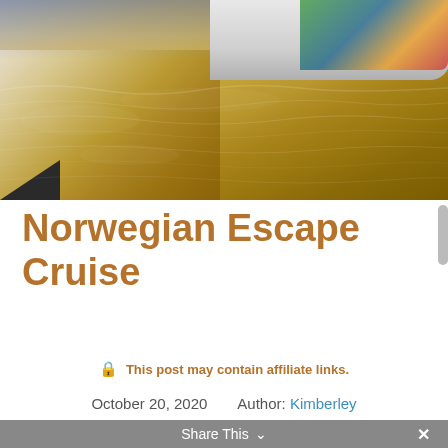[Figure (photo): Photograph of a cruise ship hull with decorative art, partially visible at the top, with golden-brown shimmering water/dock surface in the foreground]
Norwegian Escape Cruise
🔒 This post may contain affiliate links.
October 20, 2020    Author: Kimberley
Share This  ∨  ×